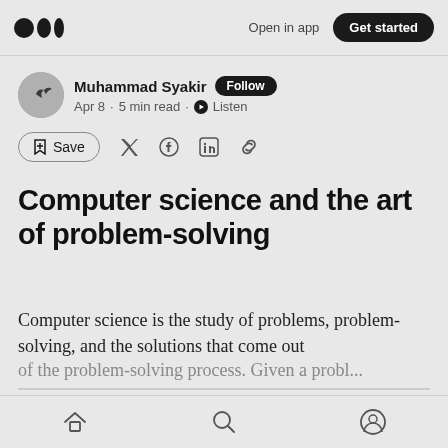Open in app  Get started
Muhammad Syakir  Follow
Apr 8 · 5 min read · Listen
Save
Computer science and the art of problem-solving
Computer science is the study of problems, problem-solving, and the solutions that come out of the problem-solving process. Given a problem...
Home  Search  Profile